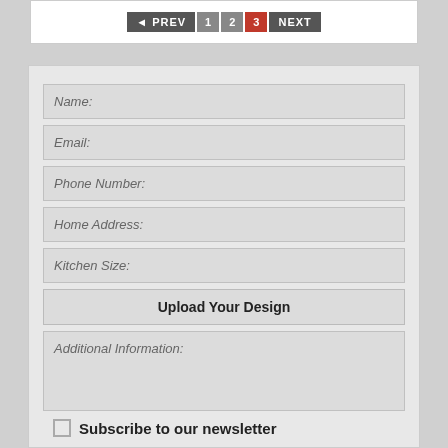[Figure (screenshot): Pagination controls with PREV button, page numbers 1, 2, 3 (active/red), and NEXT button]
Name:
Email:
Phone Number:
Home Address:
Kitchen Size:
Upload Your Design
Additional Information:
Subscribe to our newsletter